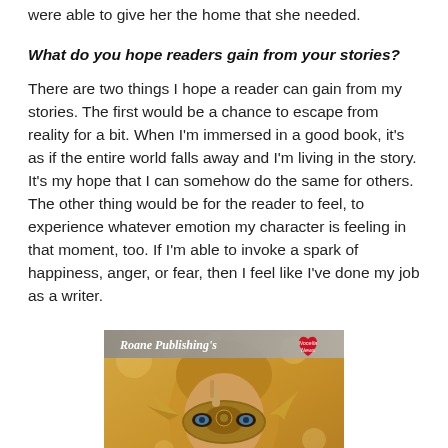were able to give her the home that she needed.
What do you hope readers gain from your stories?
There are two things I hope a reader can gain from my stories. The first would be a chance to escape from reality for a bit. When I'm immersed in a good book, it's as if the entire world falls away and I'm living in the story. It's my hope that I can somehow do the same for others. The other thing would be for the reader to feel, to experience whatever emotion my character is feeling in that moment, too. If I'm able to invoke a spark of happiness, anger, or fear, then I feel like I've done my job as a writer.
[Figure (illustration): Book cover image with text 'Roane Publishing's' and a heart logo labeled 'Nocella News', featuring a person wearing an ornate golden mask with wing decorations]